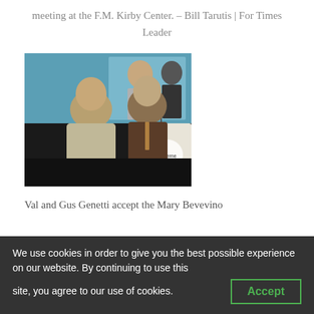meeting at the F.M. Kirby Center. – Bill Tarutis | For Times Leader
[Figure (photo): Val and Gus Genetti standing at a podium at an event, with a screen showing people in formal attire in the background.]
Val and Gus Genetti accept the Mary Bevevino
We use cookies in order to give you the best possible experience on our website. By continuing to use this site, you agree to our use of cookies.